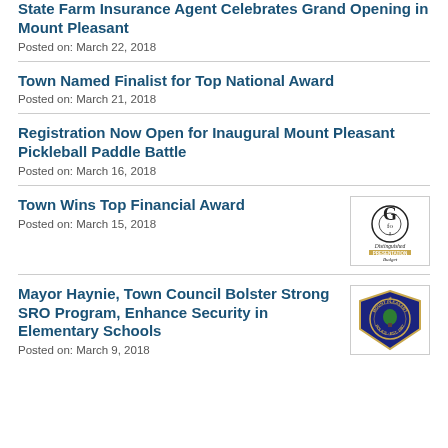State Farm Insurance Agent Celebrates Grand Opening in Mount Pleasant
Posted on: March 22, 2018
Town Named Finalist for Top National Award
Posted on: March 21, 2018
Registration Now Open for Inaugural Mount Pleasant Pickleball Paddle Battle
Posted on: March 16, 2018
Town Wins Top Financial Award
Posted on: March 15, 2018
[Figure (logo): GFOA Distinguished Budget Presentation Award logo]
Mayor Haynie, Town Council Bolster Strong SRO Program, Enhance Security in Elementary Schools
Posted on: March 9, 2018
[Figure (logo): Mount Pleasant Police Department badge logo]